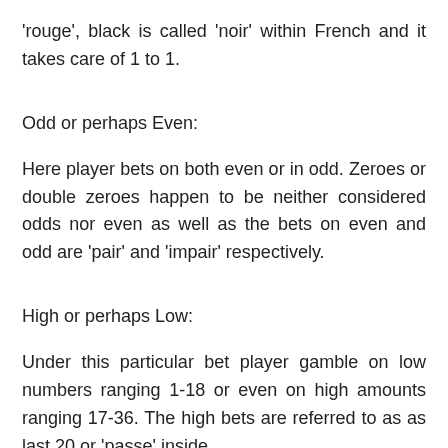'rouge', black is called 'noir' within French and it takes care of 1 to 1.
Odd or perhaps Even:
Here player bets on both even or in odd. Zeroes or double zeroes happen to be neither considered odds nor even as well as the bets on even and odd are 'pair' and 'impair' respectively.
High or perhaps Low:
Under this particular bet player gamble on low numbers ranging 1-18 or even on high amounts ranging 17-36. The high bets are referred to as as last 20 or 'passe' inside